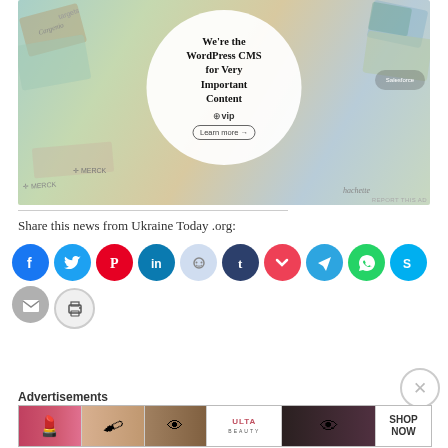[Figure (photo): WordPress VIP advertisement banner showing branded content cards in the background with a white circle overlay containing the text 'We're the WordPress CMS for Very Important Content', a WordPress VIP logo, and a 'Learn more' button.]
Share this news from Ukraine Today .org:
[Figure (other): Row of social media sharing icon buttons: Facebook (blue), Twitter (cyan), Pinterest (red), LinkedIn (dark teal), Reddit (light blue), Tumblr (dark navy), Pocket (red), Telegram (blue), WhatsApp (green), Skype (blue), Email (gray), and a Print button below.]
Advertisements
[Figure (photo): ULTA Beauty advertisement banner showing beauty/makeup imagery including lips, makeup brush, eye, ULTA logo, and close-up eye with a 'SHOP NOW' call to action.]